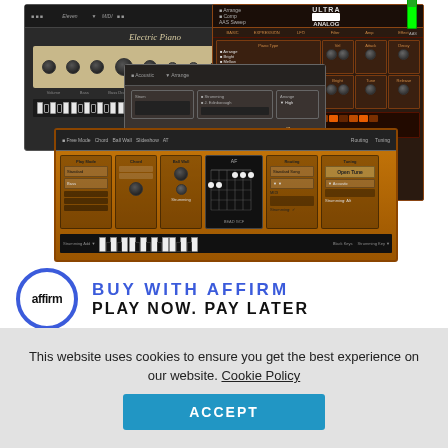[Figure (screenshot): Composite screenshot of multiple music software plugin UIs: Electric Piano amp-style plugin (top-left), Strum acoustic guitar plugin (middle), Ultra Analog synthesizer plugin (top-right), and Strum 2 guitar plugin (front-bottom). Dark interfaces with knobs, buttons, sequencer pads, and keyboard keys.]
BUY WITH AFFIRM
PLAY NOW. PAY LATER
This website uses cookies to ensure you get the best experience on our website. Cookie Policy
ACCEPT